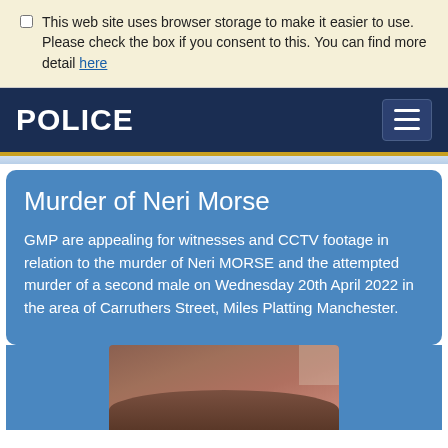This web site uses browser storage to make it easier to use. Please check the box if you consent to this. You can find more detail here
POLICE
Murder of Neri Morse
GMP are appealing for witnesses and CCTV footage in relation to the murder of Neri MORSE and the attempted murder of a second male on Wednesday 20th April 2022 in the area of Carruthers Street, Miles Platting Manchester.
[Figure (photo): Partial photograph showing a brick wall and the top of a person's head]